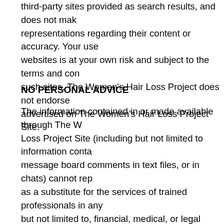third-party sites provided as search results, and does not make representations regarding their content or accuracy. Your use of websites is at your own risk and subject to the terms and conditions of such sites. The Women's Hair Loss Project does not endorse products advertised on The Women's Hair Loss Project Site.
NO PERSONAL ADVICE
The information contained in or made available through The Women's Hair Loss Project Site (including but not limited to information contained in message board comments in text files, or in chats) cannot replace or act as a substitute for the services of trained professionals in any field, but not limited to, financial, medical, or legal matters. In particular, regularly consult a doctor in all matters relating to physical or mental health, particularly concerning any symptoms that may require diagnosis or medical attention. Neither The Women's Hair Loss Project nor any of its affiliated companies, nor any of its or their respective licensors or suppliers, make representations or warranties concerning any treatment, action, or application of medication or preparation by any person following the information provided within or through The Women's Hair Loss Project Site. We, nor our partners, or any of their affiliates, will be liable for any consequential, special, exemplary or other damages that may result...